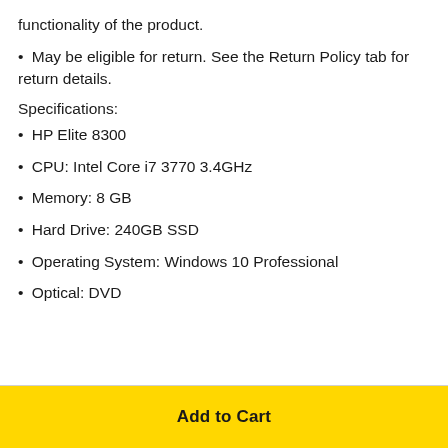functionality of the product.
• May be eligible for return. See the Return Policy tab for return details.
Specifications:
• HP Elite 8300
• CPU: Intel Core i7 3770 3.4GHz
• Memory: 8 GB
• Hard Drive: 240GB SSD
• Operating System: Windows 10 Professional
• Optical: DVD
Add to Cart